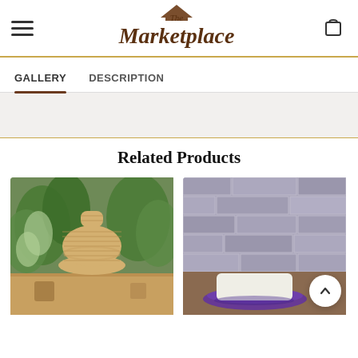The Marketplace — header with hamburger menu, logo, and cart icon
GALLERY   DESCRIPTION
[Figure (screenshot): Gray banner/gallery area below navigation tabs]
Related Products
[Figure (photo): Product photo: wicker/rope vase with green plants in background]
[Figure (photo): Product photo: white soap bar on purple dish against stone brick wall background, with scroll-to-top arrow button overlay]